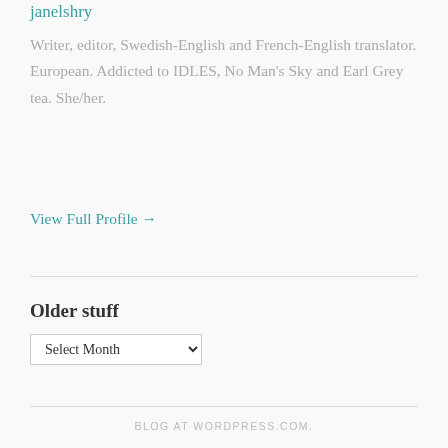janelshry
Writer, editor, Swedish-English and French-English translator. European. Addicted to IDLES, No Man's Sky and Earl Grey tea. She/her.
View Full Profile →
Older stuff
Select Month
BLOG AT WORDPRESS.COM.